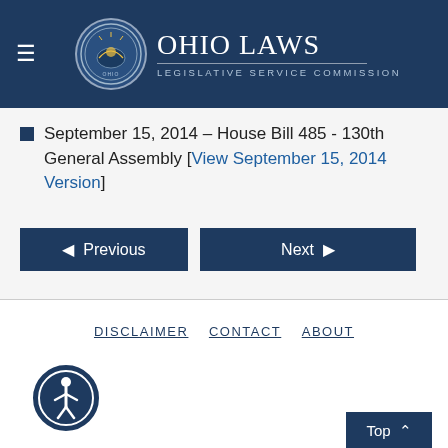Ohio Laws - Legislative Service Commission
September 15, 2014 – House Bill 483 - 130th General Assembly [ View September 15, 2014 Version ]
Previous | Next
DISCLAIMER  CONTACT  ABOUT